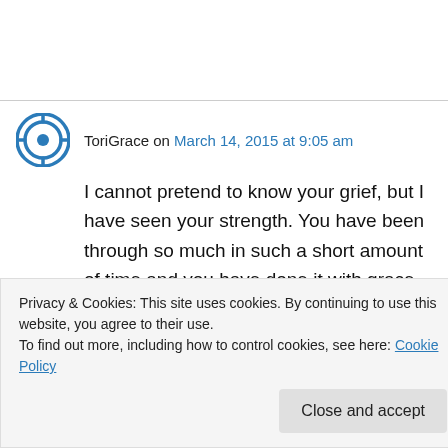ToriGrace on March 14, 2015 at 9:05 am
I cannot pretend to know your grief, but I have seen your strength. You have been through so much in such a short amount of time and you have done it with grace and dignity. You have supported your wife and she has supported you,
Privacy & Cookies: This site uses cookies. By continuing to use this website, you agree to their use.
To find out more, including how to control cookies, see here: Cookie Policy
Close and accept